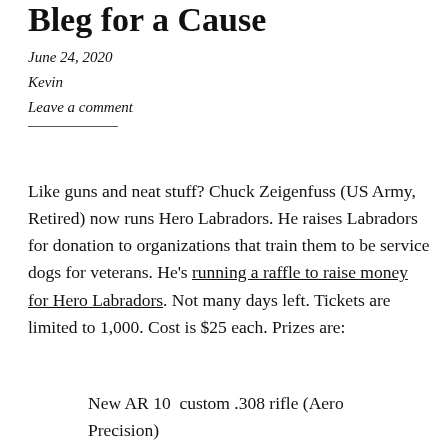Bleg for a Cause
June 24, 2020
Kevin
Leave a comment
Like guns and neat stuff?  Chuck Zeigenfuss (US Army, Retired) now runs Hero Labradors.  He raises Labradors for donation to organizations that train them to be service dogs for veterans.  He's running a raffle to raise money for Hero Labradors.  Not many days left.  Tickets are limited to 1,000.  Cost is $25 each.  Prizes are:
New AR 10  custom .308 rifle (Aero Precision)